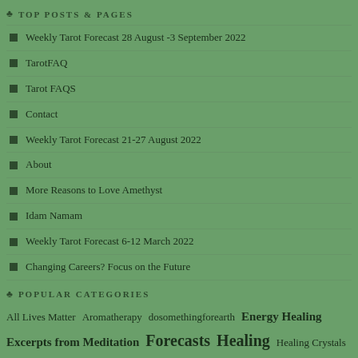TOP POSTS & PAGES
Weekly Tarot Forecast 28 August -3 September 2022
TarotFAQ
Tarot FAQS
Contact
Weekly Tarot Forecast 21-27 August 2022
About
More Reasons to Love Amethyst
Idam Namam
Weekly Tarot Forecast 6-12 March 2022
Changing Careers? Focus on the Future
POPULAR CATEGORIES
All Lives Matter  Aromatherapy  dosomethingforearth  Energy Healing  Excerpts from Meditation  Forecasts  Healing  Healing Crystals  Health & Wellness  IndiaToday  Inner Strength  Inspiration  karma  LifeLearnings  Love  Meditation